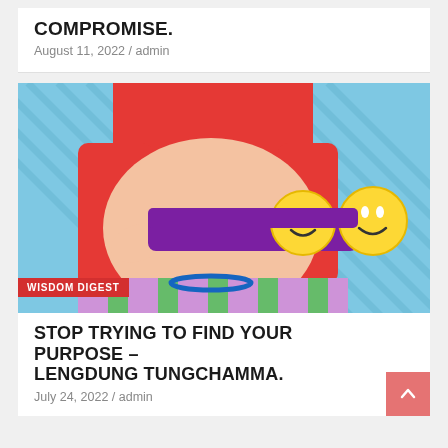COMPROMISE.
August 11, 2022 / admin
[Figure (illustration): Cartoon illustration of a person with red hair wearing a striped shirt, holding purple binoculars with yellow smiley faces on the lenses, against a blue diagonal-stripe background. Badge reads WISDOM DIGEST.]
STOP TRYING TO FIND YOUR PURPOSE – LENGDUNG TUNGCHAMMA.
July 24, 2022 / admin